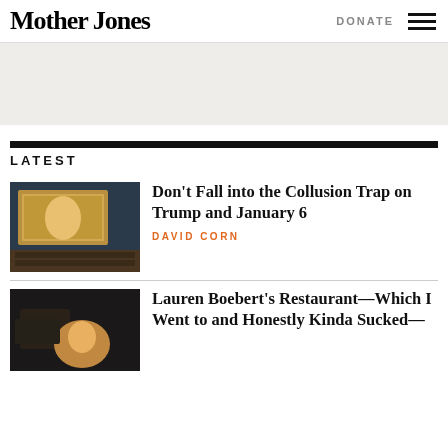Mother Jones
[Figure (other): Advertisement banner placeholder, light gray background]
LATEST
[Figure (photo): Photo of a Congressional hearing with a large screen showing Trump speaking, committee members seated at a bench]
Don't Fall into the Collusion Trap on Trump and January 6
DAVID CORN
[Figure (photo): Photo of Lauren Boebert smiling in front of a restaurant sign]
Lauren Boebert's Restaurant—Which I Went to and Honestly Kinda Sucked—